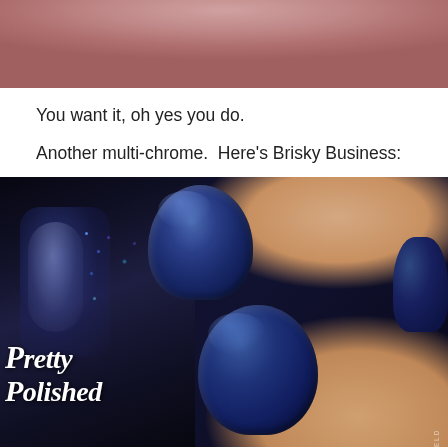[Figure (photo): Close-up photo of a person's lips/lower face, cropped at top of page]
You want it, oh yes you do.
Another multi-chrome.  Here's Brisky Business:
[Figure (photo): Photo of a hand with deep navy/blue-purple multi-chrome nail polish, with a Pretty Polished nail polish bottle in the foreground. Watermark reads @BSETTERFIELD.]